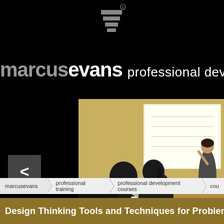[Figure (logo): Marcus Evans professional development logo with stylized M above marcusevans wordmark and 'professional develo...' text on black background]
[Figure (photo): Business training session: people seated at a conference table in foreground (backs to camera) watching a female presenter standing next to a projection screen]
< (navigation left arrow button)
marcusevans
professional training
professional development courses
cou...
Design Thinking Tools and Techniques for Problem Solving